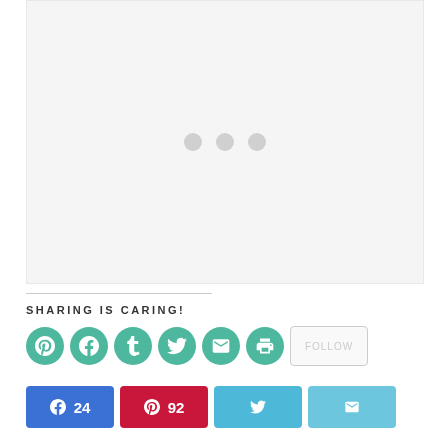[Figure (other): Large placeholder image area with light gray background and three gray dots in the center indicating loading state]
SHARING IS CARING!
[Figure (other): Row of social share icon circles (Pinterest, Facebook, Tumblr, Twitter, Email, Print) in teal/green color, plus a Follow button]
[Figure (other): Social share buttons row: Facebook with count 24, Pinterest with count 92, Twitter, Email]